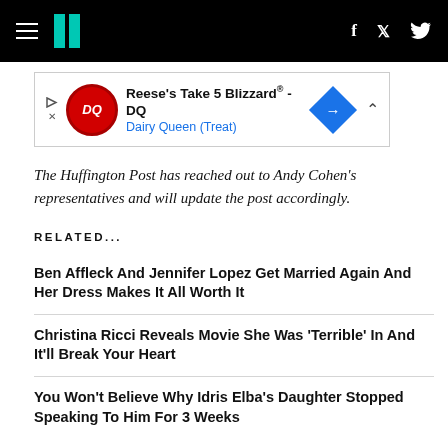HuffPost navigation header with hamburger menu, logo, Facebook and Twitter icons
[Figure (other): Dairy Queen advertisement banner: Reese's Take 5 Blizzard® - DQ, Dairy Queen (Treat)]
The Huffington Post has reached out to Andy Cohen's representatives and will update the post accordingly.
RELATED...
Ben Affleck And Jennifer Lopez Get Married Again And Her Dress Makes It All Worth It
Christina Ricci Reveals Movie She Was 'Terrible' In And It'll Break Your Heart
You Won't Believe Why Idris Elba's Daughter Stopped Speaking To Him For 3 Weeks